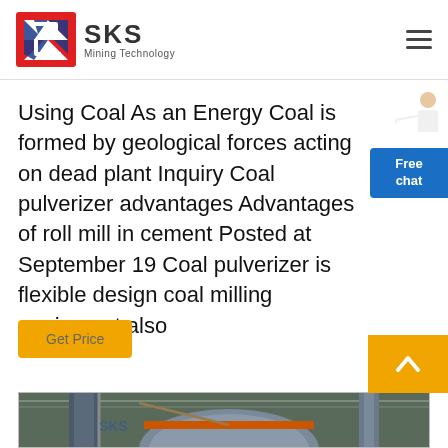[Figure (logo): SKS Mining Technology logo with red and blue geometric icon and company name]
Using Coal As an Energy Coal is formed by geological forces acting on dead plant Inquiry Coal pulverizer advantages Advantages of roll mill in cement Posted at September 19 Coal pulverizer is flexible design coal milling equipment also
[Figure (other): Blue Free chat button on right side with a customer service representative figure]
[Figure (other): Get Price yellow button]
[Figure (other): Yellow back-to-top arrow button]
[Figure (photo): Industrial photo of coal pulverizer equipment in a factory/warehouse setting]